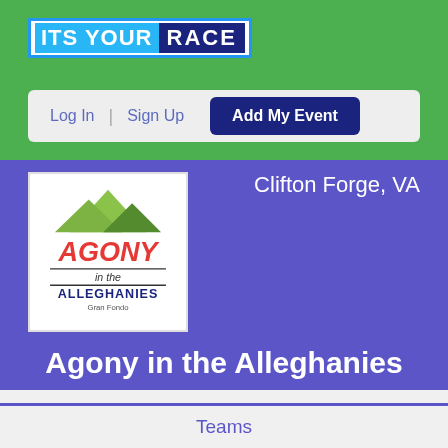ITS YOUR RACE
Log In | Sign Up
Add My Event
Clifton Forge, VA
[Figure (logo): Agony in the Alleghanies Gran Fondo event logo with green mountain silhouette and red/black text]
Agony in the Alleghanies
About
Participants
Teams